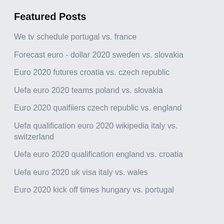Featured Posts
We tv schedule portugal vs. france
Forecast euro - dollar 2020 sweden vs. slovakia
Euro 2020 futures croatia vs. czech republic
Uefa euro 2020 teams poland vs. slovakia
Euro 2020 qualfiiers czech republic vs. england
Uefa qualification euro 2020 wikipedia italy vs. switzerland
Uefa euro 2020 qualification england vs. croatia
Uefa euro 2020 uk visa italy vs. wales
Euro 2020 kick off times hungary vs. portugal